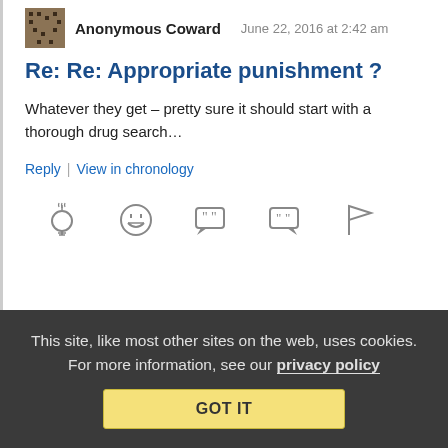Anonymous Coward   June 22, 2016 at 2:42 am
Re: Re: Appropriate punishment ?
Whatever they get – pretty sure it should start with a thorough drug search…
Reply | View in chronology
[Figure (infographic): Row of 5 reaction/action icons: lightbulb, laughing face, quote bubble, reply bubble, flag]
[3]
This site, like most other sites on the web, uses cookies. For more information, see our privacy policy
GOT IT